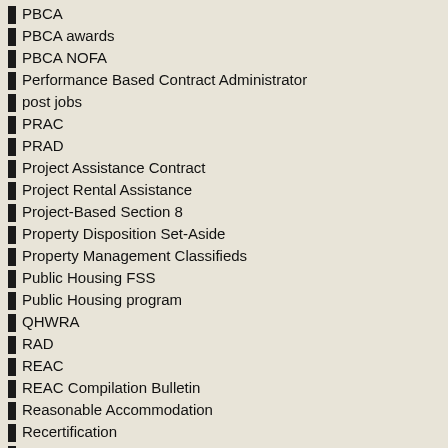PBCA
PBCA awards
PBCA NOFA
Performance Based Contract Administrator
post jobs
PRAC
PRAD
Project Assistance Contract
Project Rental Assistance
Project-Based Section 8
Property Disposition Set-Aside
Property Management Classifieds
Public Housing FSS
Public Housing program
QHWRA
RAD
REAC
REAC Compilation Bulletin
Reasonable Accommodation
Recertification
Rehabilitation Act of 1973
Rent Concession
Rent Supplement
Rental Assistance Contract
the affordable housing industry is funded and rewarding.